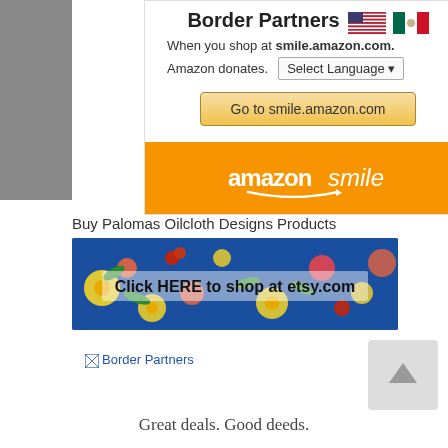[Figure (infographic): Amazon Smile promotional widget with title 'Border Partners', US and Mexico flags, text 'When you shop at smile.amazon.com. Amazon donates.', a language selector, a 'Go to smile.amazon.com' button, and the amazonsmile logo on an orange footer bar.]
Buy Palomas Oilcloth Designs Products
[Figure (photo): Floral oilcloth fabric with blue background and colorful flowers, with overlay text 'Click HERE to shop at etsy.com']
[Figure (logo): Broken image placeholder labeled 'Border Partners']
Great deals. Good deeds.